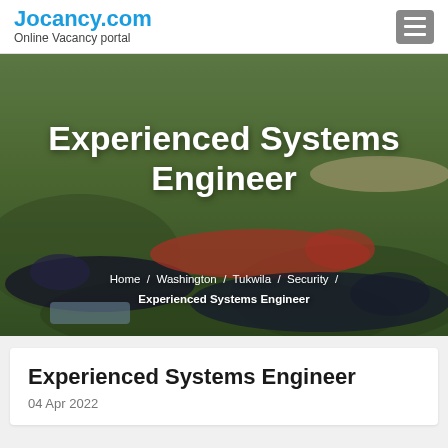Jocancy.com
Online Vacancy portal
[Figure (photo): People lying on grass outdoors with job title text overlay: 'Experienced Systems Engineer' and breadcrumb: Home / Washington / Tukwila / Security / Experienced Systems Engineer]
Experienced Systems Engineer
04 Apr 2022